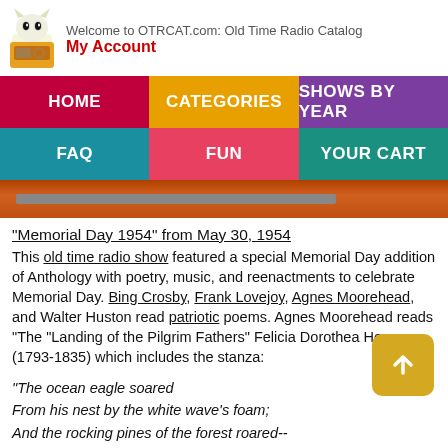Welcome to OTRCAT.com: Old Time Radio Catalog
My Account
HOME | CATEGORIES | SHOWS BY YEAR | FAQ | FUN | YOUR CART
"Memorial Day 1954" from May 30, 1954
This old time radio show featured a special Memorial Day addition of Anthology with poetry, music, and reenactments to celebrate Memorial Day. Bing Crosby, Frank Lovejoy, Agnes Moorehead, and Walter Huston read patriotic poems. Agnes Moorehead reads "The "Landing of the Pilgrim Fathers" Felicia Dorothea Hemans (1793-1835) which includes the stanza:
"The ocean eagle soared
From his nest by the white wave's foam;
And the rocking pines of the forest roared--
This was their welcome home."